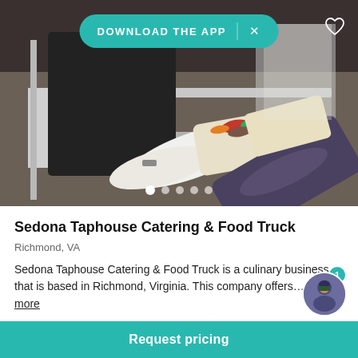[Figure (photo): Food truck window scene showing a worker in black shirt and white gloves handing food wraps to a customer in a grey long-sleeve top. Food with colorful toppings visible in paper wrapping.]
DOWNLOAD THE APP
Sedona Taphouse Catering & Food Truck
Richmond, VA
Sedona Taphouse Catering & Food Truck is a culinary business that is based in Richmond, Virginia. This company offers… Read more
Request pricing